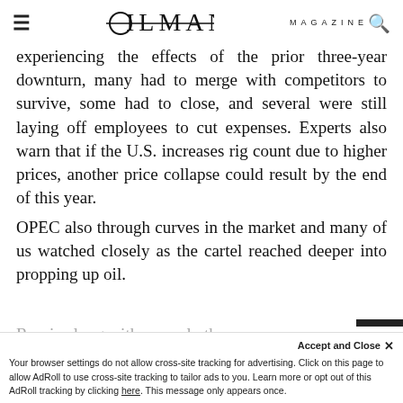OILMAN MAGAZINE
experiencing the effects of the prior three-year downturn, many had to merge with competitors to survive, some had to close, and several were still laying off employees to cut expenses. Experts also warn that if the U.S. increases rig count due to higher prices, another price collapse could result by the end of this year. OPEC also through curves in the market and many of us watched closely as the cartel reached deeper into propping up oil.
Russia along with several other no...
Your browser settings do not allow cross-site tracking for advertising. Click on this page to allow AdRoll to use cross-site tracking to tailor ads to you. Learn more or opt out of this AdRoll tracking by clicking here. This message only appears once.